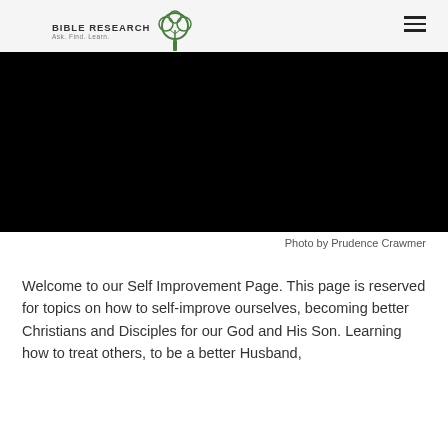BIBLE RESEARCH Ask. Find. Learn.
[Figure (photo): Large black/dark photograph banner image spanning full width]
Photo by Prudence Crawmer
Welcome to our Self Improvement Page. This page is reserved for topics on how to self-improve ourselves, becoming better Christians and Disciples for our God and His Son. Learning how to treat others, to be a better Husband,